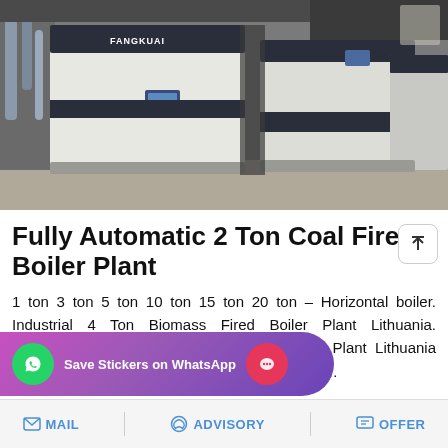[Figure (photo): Industrial boiler units — white and dark-colored FANGKUAI branded boiler machines in a factory/plant setting]
Fully Automatic 2 Ton Coal Fired Boiler Plant
1 ton 3 ton 5 ton 10 ton 15 ton 20 ton – Horizontal boiler. Industrial 4 Ton Biomass Fired Boiler Plant Lithuania. …ass Fired Boiler Plant Lithuania …asse fired one ton boilers in indi…
[Figure (other): Save Stickers on WhatsApp banner overlay with WhatsApp and messaging app icons]
MAIL   ADVISORY   OFFER